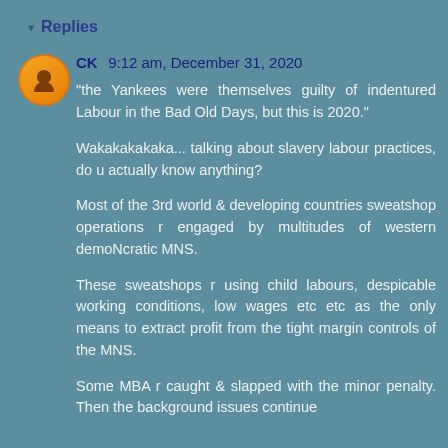Replies
CK  9:12 am, December 31, 2020
"the Yankees were themselves guilty of indentured Labour in the Bad Old Days, but this is 2020."

Wakakakakaka... talking about slavery labour practices, do u actually know anything?

Most of the 3rd world & developing countries sweatshop operations r engaged by multitudes of western demoNcratic MNS.

These sweatshops r using child labours, despicable working conditions, low wages etc etc as the only means to extract profit from the tight margin controls of the MNS.

Some MBA r caught & slapped with the minor penalty. Then the background issues continue